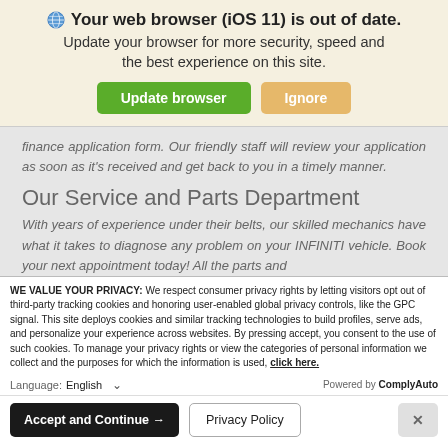Your web browser (iOS 11) is out of date.
Update your browser for more security, speed and the best experience on this site.
finance application form. Our friendly staff will review your application as soon as it's received and get back to you in a timely manner.
Our Service and Parts Department
With years of experience under their belts, our skilled mechanics have what it takes to diagnose any problem on your INFINITI vehicle. Book your next appointment today! All the parts and
WE VALUE YOUR PRIVACY: We respect consumer privacy rights by letting visitors opt out of third-party tracking cookies and honoring user-enabled global privacy controls, like the GPC signal. This site deploys cookies and similar tracking technologies to build profiles, serve ads, and personalize your experience across websites. By pressing accept, you consent to the use of such cookies. To manage your privacy rights or view the categories of personal information we collect and the purposes for which the information is used, click here.
Language: English  ∨  Powered by ComplyAuto
Accept and Continue →  Privacy Policy  ×